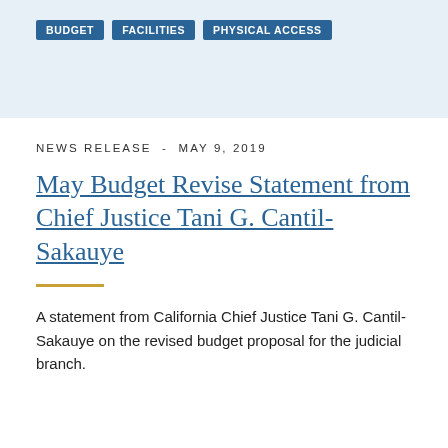BUDGET   FACILITIES   PHYSICAL ACCESS
NEWS RELEASE - MAY 9, 2019
May Budget Revise Statement from Chief Justice Tani G. Cantil-Sakauye
A statement from California Chief Justice Tani G. Cantil-Sakauye on the revised budget proposal for the judicial branch.